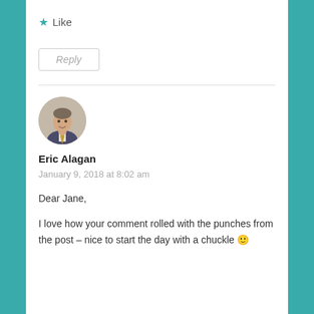Like
Reply
[Figure (photo): Circular avatar photo of a man in a suit with a tie, smiling]
Eric Alagan
January 9, 2018 at 8:02 am
Dear Jane,
I love how your comment rolled with the punches from the post – nice to start the day with a chuckle 🙂